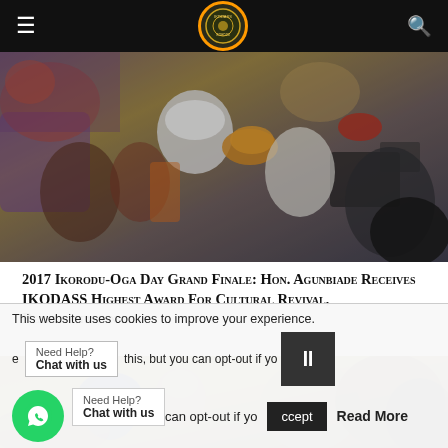IKODASS website navigation bar with hamburger menu, logo, and search icon
[Figure (photo): Crowd of people at a cultural event, wearing traditional Nigerian attire including white and red caps, colourful fabrics; people with cameras visible in the background]
2017 Ikorodu-Oga Day Grand Finale: Hon. Agunbiade Receives IKODASS Highest Award For Cultural Revival, Representation
[Figure (photo): Indoor event scene with people including a man wearing a blue cap in the foreground and others in the background]
This website uses cookies to improve your experience. We'll assume you're ok with this, but you can opt-out if you wish. Accept Read More
Need Help? Chat with us